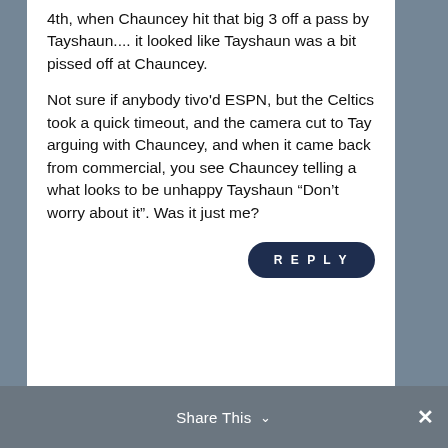4th, when Chauncey hit that big 3 off a pass by Tayshaun.... it looked like Tayshaun was a bit pissed off at Chauncey.
Not sure if anybody tivo'd ESPN, but the Celtics took a quick timeout, and the camera cut to Tay arguing with Chauncey, and when it came back from commercial, you see Chauncey telling a what looks to be unhappy Tayshaun “Don’t worry about it”. Was it just me?
REPLY
Share This ⌄